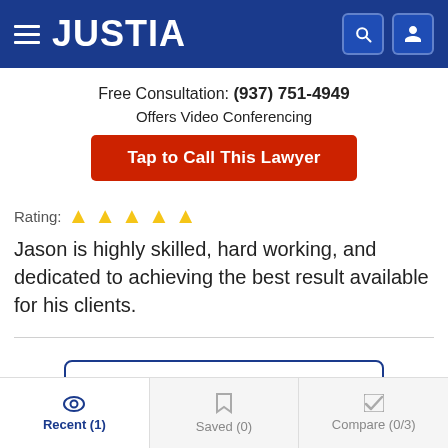JUSTIA
Free Consultation: (937) 751-4949
Offers Video Conferencing
Tap to Call This Lawyer
Rating: ★★★★★
Jason is highly skilled, hard working, and dedicated to achieving the best result available for his clients.
Read All Lawyer Reviews
Recent (1) | Saved (0) | Compare (0/3)